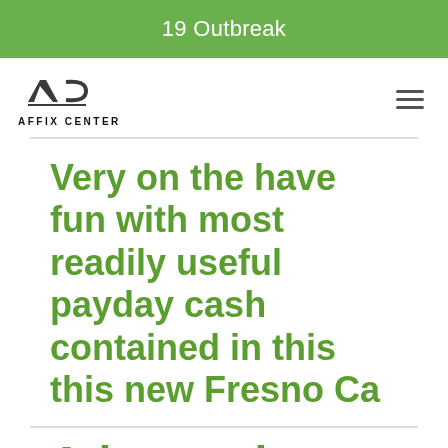19 Outbreak
[Figure (logo): Affix Center logo with AC monogram and text AFFIX CENTER]
Very on the have fun with most readily useful payday cash contained in this this new Fresno Ca
Advance loan